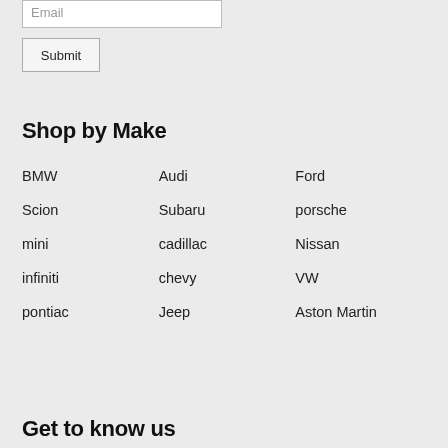Email
Submit
Shop by Make
BMW
Audi
Ford
Scion
Subaru
porsche
mini
cadillac
Nissan
infiniti
chevy
VW
pontiac
Jeep
Aston Martin
Get to know us